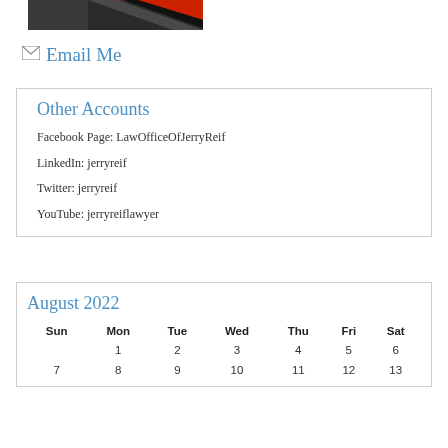[Figure (photo): Partial photo strip showing what appears to be a tie or fabric with red, black, and white colors]
✉ Email Me
Other Accounts
Facebook Page: LawOfficeOfJerryReif
LinkedIn: jerryreif
Twitter: jerryreif
YouTube: jerryreiflawyer
August 2022
| Sun | Mon | Tue | Wed | Thu | Fri | Sat |
| --- | --- | --- | --- | --- | --- | --- |
|  | 1 | 2 | 3 | 4 | 5 | 6 |
| 7 | 8 | 9 | 10 | 11 | 12 | 13 |